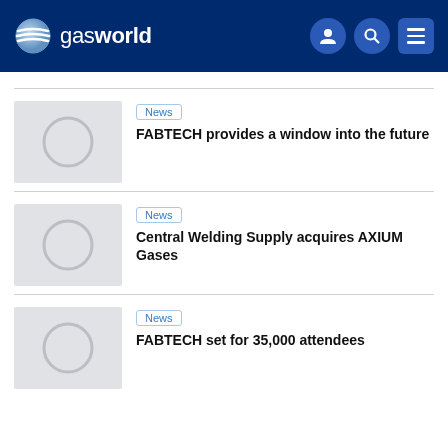gasworld
[Figure (screenshot): Placeholder thumbnail image with grey background and circle outline]
News
FABTECH provides a window into the future
[Figure (screenshot): Placeholder thumbnail image with grey background and circle outline]
News
Central Welding Supply acquires AXIUM Gases
[Figure (screenshot): Placeholder thumbnail image with grey background and circle outline]
News
FABTECH set for 35,000 attendees